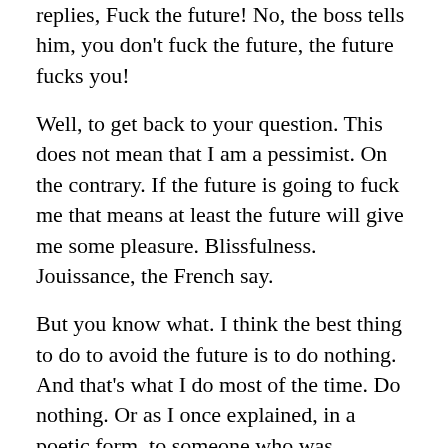replies, Fuck the future! No, the boss tells him, you don't fuck the future, the future fucks you!
Well, to get back to your question. This does not mean that I am a pessimist. On the contrary. If the future is going to fuck me that means at least the future will give me some pleasure. Blissfulness. Jouissance, the French say.
But you know what. I think the best thing to do to avoid the future is to do nothing. And that's what I do most of the time. Do nothing. Or as I once explained, in a poetic form, to someone who was criticizing me for doing nothing: